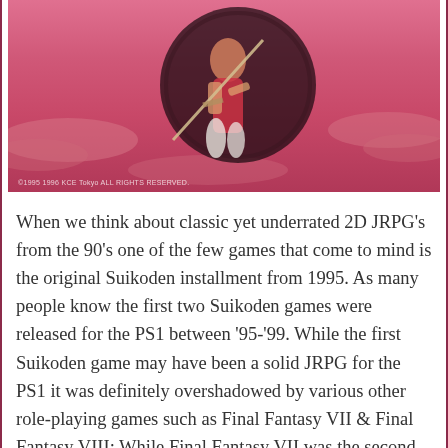[Figure (illustration): Anime-style illustration showing a young male warrior character leaping dynamically against a pink/red sky background with clouds. The character has dark hair and wears a red and white outfit, holding a sword. A circular dark emblem is visible behind him. Copyright text reads: ©1995 1996 KCE Tokyo ALL RIGHTS RESERVED.]
When we think about classic yet underrated 2D JRPG's from the 90's one of the few games that come to mind is the original Suikoden installment from 1995. As many people know the first two Suikoden games were released for the PS1 between '95-'99. While the first Suikoden game may have been a solid JRPG for the PS1 it was definitely overshadowed by various other role-playing games such as Final Fantasy VII & Final Fantasy VIII; While Final Fantasy VII was the second best selling game for the PS1 not too many people remember or have even heard of the Suikoden series. Suikoden was an RPG that had an intriguing plot which involved uncovering corruption within the Scarlet Moon Empire among top officials while the main